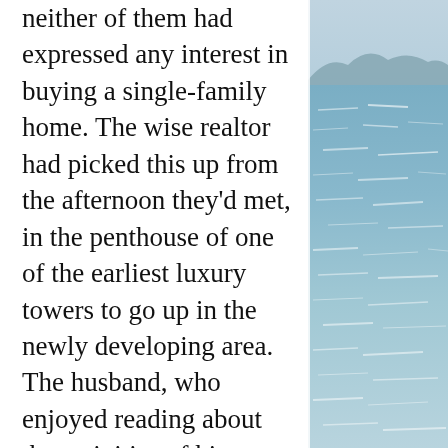[Figure (photo): Photograph of open water (lake or sea) with blue shimmering surface and distant hills/mountains visible at the top right.]
neither of them had expressed any interest in buying a single-family home. The wise realtor had picked this up from the afternoon they'd met, in the penthouse of one of the earliest luxury towers to go up in the newly developing area. The husband, who enjoyed reading about the activities of his firm's clients and competitors in the Real Estate section of the local newspaper, had suggested they “go out and check around.” Eager to participate in her husband’s professional interests, the wife readily assented, which was how, on that fateful Sunday afternoon, they’d unknowingly embarked on the least expected real estate venture of their lives to date.